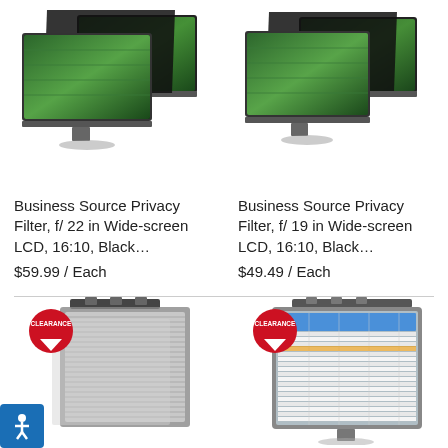[Figure (photo): Two monitors with privacy filter applied, showing green abstract display, product photo top-left]
[Figure (photo): Two monitors with privacy filter applied, showing green abstract display, product photo top-right]
Business Source Privacy Filter, f/ 22 in Wide-screen LCD, 16:10, Black…
$59.99 / Each
Business Source Privacy Filter, f/ 19 in Wide-screen LCD, 16:10, Black…
$49.49 / Each
[Figure (photo): Privacy filter panel with CLEARANCE badge, bottom-left product]
[Figure (photo): Privacy filter on monitor showing spreadsheet with CLEARANCE badge, bottom-right product]